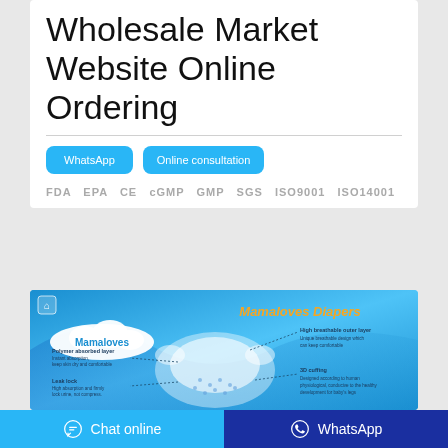Wholesale Market Website Online Ordering
WhatsApp  Online consultation
FDA  EPA  CE  cGMP  GMP  SGS  ISO9001  ISO14001
[Figure (photo): Mamaloves Diapers product advertisement image with annotated diaper cross-section showing: High breathable outer layer, Polymer absorbed layer, Leak lock, 3D cuffing]
Chat online
WhatsApp